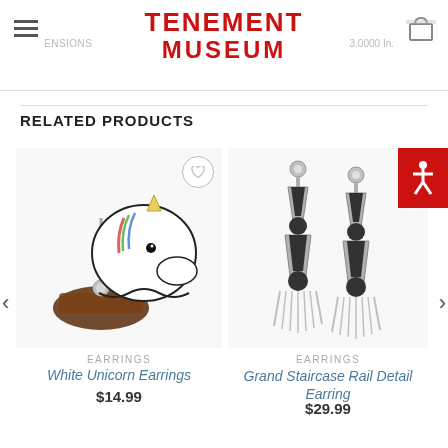TENEMENT MUSEUM
RELATED PRODUCTS
[Figure (photo): White Unicorn Earrings product photo - stud earrings shaped like a white unicorn head on a wooden base]
EARRINGS
White Unicorn Earrings
$14.99
[Figure (photo): Grand Staircase Rail Detail Earring product photo - long black and silver art deco style drop earrings]
EARRINGS
Grand Staircase Rail Detail Earring
$29.99